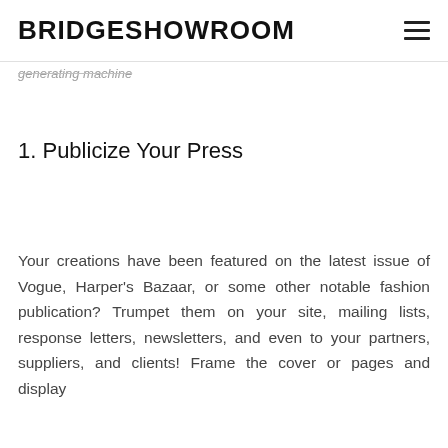BRIDGESHOWROOM
generating machine
1. Publicize Your Press
Your creations have been featured on the latest issue of Vogue, Harper's Bazaar, or some other notable fashion publication? Trumpet them on your site, mailing lists, response letters, newsletters, and even to your partners, suppliers, and clients! Frame the cover or pages and display them as an art that too……